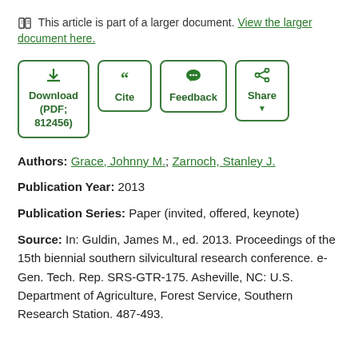🖹 This article is part of a larger document. View the larger document here.
[Figure (other): Row of four action buttons: Download (PDF; 812456), Cite, Feedback, Share]
Authors: Grace, Johnny M.; Zarnoch, Stanley J.
Publication Year: 2013
Publication Series: Paper (invited, offered, keynote)
Source: In: Guldin, James M., ed. 2013. Proceedings of the 15th biennial southern silvicultural research conference. e-Gen. Tech. Rep. SRS-GTR-175. Asheville, NC: U.S. Department of Agriculture, Forest Service, Southern Research Station. 487-493.